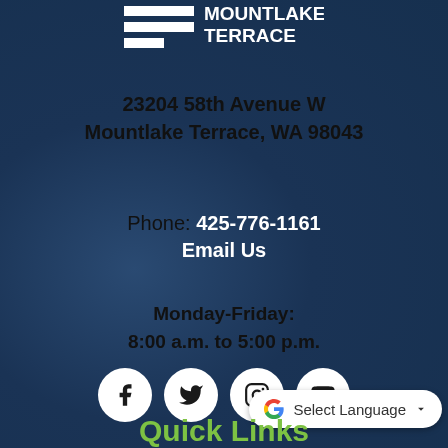[Figure (logo): Mountlake Terrace city logo with white horizontal bars and text MOUNTLAKE TERRACE]
23204 58th Avenue W
Mountlake Terrace, WA 98043
Phone: 425-776-1161
Email Us
Monday-Friday:
8:00 a.m. to 5:00 p.m.
[Figure (other): Social media icons: Facebook, Twitter, Instagram, YouTube — white circles with black icons]
[Figure (other): Google Translate widget: G logo with 'Select Language' dropdown]
Quick Links